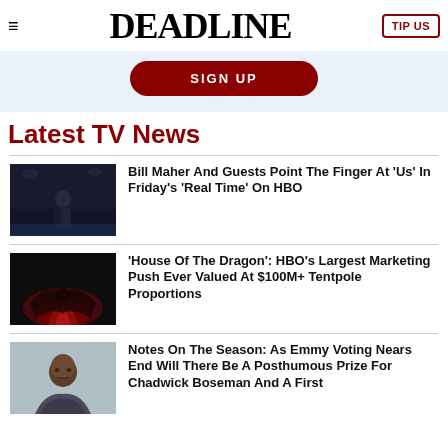DEADLINE | TIP US
[Figure (other): Dark red SIGN UP button on light blue banner background]
Latest TV News
[Figure (photo): Bill Maher on stage in dark studio setting]
Bill Maher And Guests Point The Finger At 'Us' In Friday's 'Real Time' On HBO
[Figure (photo): House of the Dragon dark red promotional image]
'House Of The Dragon': HBO's Largest Marketing Push Ever Valued At $100M+ Tentpole Proportions
[Figure (photo): Portrait of Chadwick Boseman]
Notes On The Season: As Emmy Voting Nears End Will There Be A Posthumous Prize For Chadwick Boseman And A First